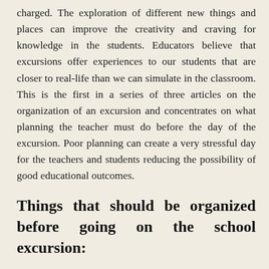charged. The exploration of different new things and places can improve the creativity and craving for knowledge in the students. Educators believe that excursions offer experiences to our students that are closer to real-life than we can simulate in the classroom. This is the first in a series of three articles on the organization of an excursion and concentrates on what planning the teacher must do before the day of the excursion. Poor planning can create a very stressful day for the teachers and students reducing the possibility of good educational outcomes.
Things that should be organized before going on the school excursion: